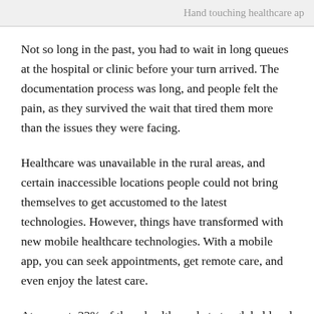Hand touching healthcare ap
Not so long in the past, you had to wait in long queues at the hospital or clinic before your turn arrived. The documentation process was long, and people felt the pain, as they survived the wait that tired them more than the issues they were facing.
Healthcare was unavailable in the rural areas, and certain inaccessible locations people could not bring themselves to get accustomed to the latest technologies. However, things have transformed with new mobile healthcare technologies. With a mobile app, you can seek appointments, get remote care, and even enjoy the latest care.
At present, 32% of the mhealth market at a global level is covered by traditional players such as hospitals, health